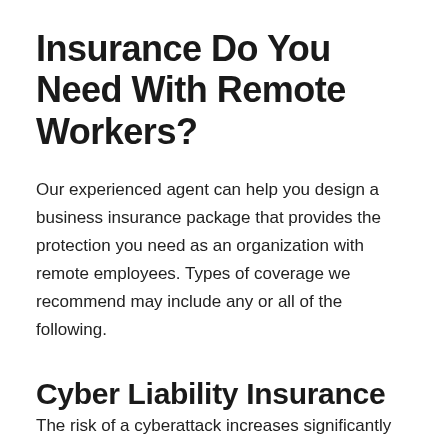Insurance Do You Need With Remote Workers?
Our experienced agent can help you design a business insurance package that provides the protection you need as an organization with remote employees. Types of coverage we recommend may include any or all of the following.
Cyber Liability Insurance
The risk of a cyberattack increases significantly with virtual employees working from home. Security